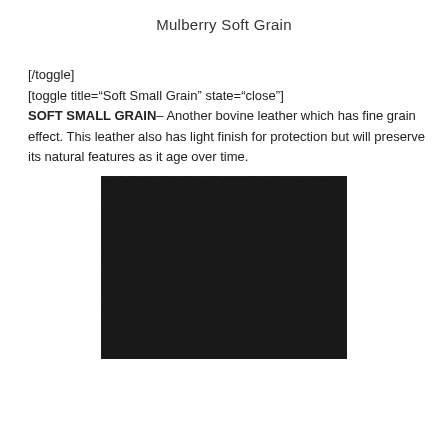Mulberry Soft Grain
[/toggle]
[toggle title="Soft Small Grain" state="close"]
SOFT SMALL GRAIN– Another bovine leather which has fine grain effect. This leather also has light finish for protection but will preserve its natural features as it age over time.
[Figure (photo): Close-up photograph of black soft small grain leather texture showing fine pebbled grain pattern]